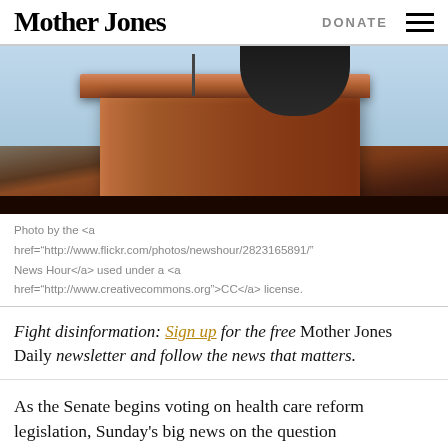Mother Jones  DONATE
[Figure (photo): A wooden podium/lectern photographed from a low angle against a light blue background, with a dark-suited figure partially visible above.]
Photo by the <a href="http://www.flickr.com/photos/newshour/2823165891/" News Hour</a> used under a <a href="http://www.creativecommons.org">CC</a> license.
Fight disinformation: Sign up for the free Mother Jones Daily newsletter and follow the news that matters.
As the Senate begins voting on health care reform legislation, Sunday's big news on the question